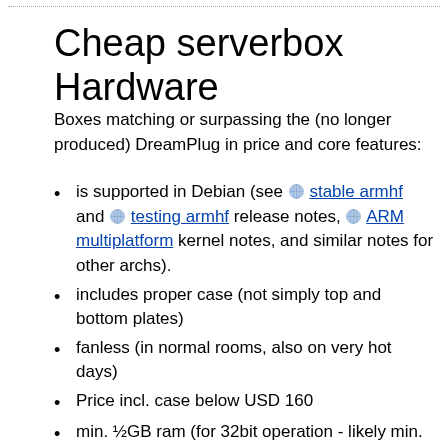Cheap serverbox Hardware
Boxes matching or surpassing the (no longer produced) DreamPlug in price and core features:
is supported in Debian (see stable armhf and testing armhf release notes, ARM multiplatform kernel notes, and similar notes for other archs).
includes proper case (not simply top and bottom plates)
fanless (in normal rooms, also on very hot days)
Price incl. case below USD 160
min. ½GB ram (for 32bit operation - likely min. 1GB for 64bit)
min. 1GHz CPU (for ARMv5 CPUs - different for other CPUs)